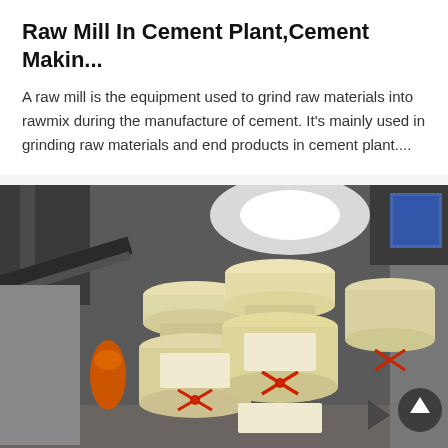Raw Mill In Cement Plant,Cement Makin...
A raw mill is the equipment used to grind raw materials into rawmix during the manufacture of cement. It's mainly used in grinding raw materials and end products in cement plant....
[Figure (photo): Industrial photograph showing multiple large cream/yellow-colored raw mill machines in a cement plant facility, with red circular valve/cap fittings visible on the equipment, taken inside what appears to be a manufacturing or storage facility with bright overhead lighting.]